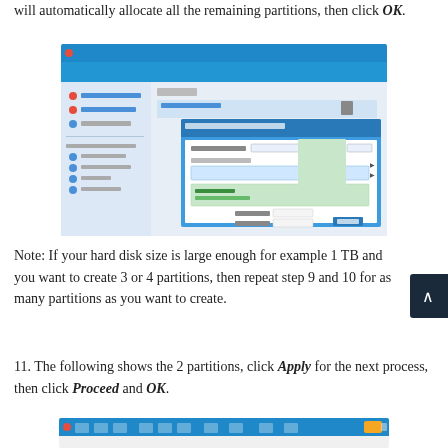will automatically allocate all the remaining partitions, then click OK.
[Figure (screenshot): Screenshot of disk partitioning software showing a dialog box with partition creation options including partition size, drive letter, file system, and other settings on a blue-themed UI.]
Note: If your hard disk size is large enough for example 1 TB and you want to create 3 or 4 partitions, then repeat step 9 and 10 for as many partitions as you want to create.
11. The following shows the 2 partitions, click Apply for the next process, then click Proceed and OK.
[Figure (screenshot): Screenshot of disk partitioning software toolbar showing the application with partition layout, partially visible at the bottom of the page.]